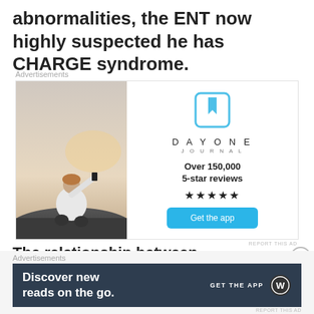abnormalities, the ENT now highly suspected he has CHARGE syndrome.
[Figure (illustration): Advertisement block: Left side shows a photo of a young man sitting on rocks photographing a sunset; Right side shows Day One Journal ad with logo, 'Over 150,000 5-star reviews', five stars, and 'Get the app' blue button.]
The relationship between...
[Figure (illustration): Bottom banner advertisement: dark teal background, text 'Discover new reads on the go.' with 'GET THE APP' and WordPress logo on the right.]